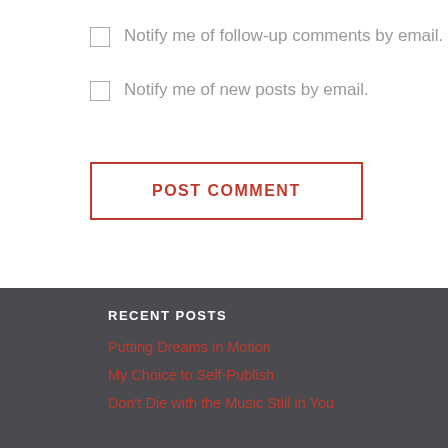Notify me of follow-up comments by email.
Notify me of new posts by email.
POST COMMENT
RECENT POSTS
Putting Dreams in Motion
My Choice to Self-Publish
Don't Die with the Music Still in You